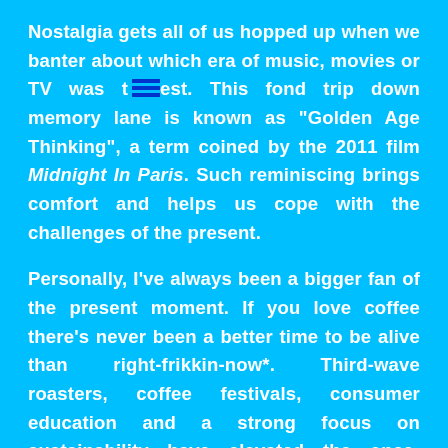Nostalgia gets all of us hopped up when we banter about which era of music, movies or TV was the best. This fond trip down memory lane is known as "Golden Age Thinking", a term coined by the 2011 film Midnight In Paris. Such reminiscing brings comfort and helps us cope with the challenges of the present.

Personally, I've always been a bigger fan of the present moment. If you love coffee there's never been a better time to be alive than right-frikkin-now*. Third-wave roasters, coffee festivals, consumer education and a strong focus on sustainability have elevated the once-humble beverage to a lofty position in contemporary culture.